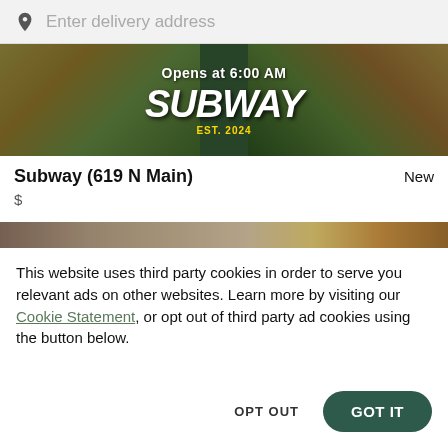Enter delivery address
[Figure (photo): Subway restaurant banner image showing sandwiches and green Subway logo with text 'Opens at 6:00 AM']
Subway (619 N Main)
New
$
[Figure (photo): Partial food image banner showing coffee cup and desserts]
This website uses third party cookies in order to serve you relevant ads on other websites. Learn more by visiting our Cookie Statement, or opt out of third party ad cookies using the button below.
OPT OUT
GOT IT